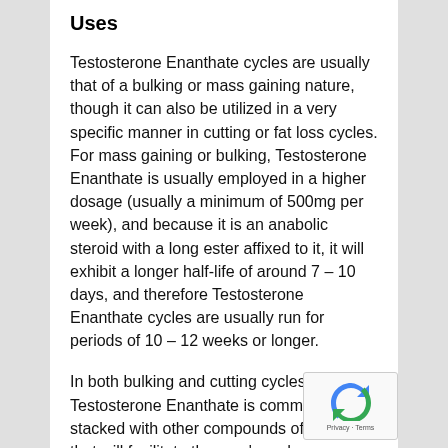Uses
Testosterone Enanthate cycles are usually that of a bulking or mass gaining nature, though it can also be utilized in a very specific manner in cutting or fat loss cycles. For mass gaining or bulking, Testosterone Enanthate is usually employed in a higher dosage (usually a minimum of 500mg per week), and because it is an anabolic steroid with a long ester affixed to it, it will exhibit a longer half-life of around 7 – 10 days, and therefore Testosterone Enanthate cycles are usually run for periods of 10 – 12 weeks or longer.
In both bulking and cutting cycles, Testosterone Enanthate is commonly stacked with other compounds of a nature that will facilitate the user's end